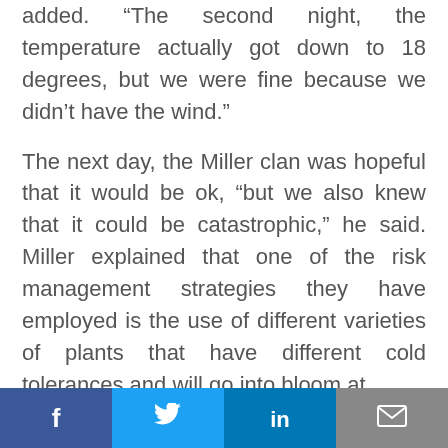added. “The second night, the temperature actually got down to 18 degrees, but we were fine because we didn’t have the wind.”
The next day, the Miller clan was hopeful that it would be ok, “but we also knew that it could be catastrophic,” he said. Miller explained that one of the risk management strategies they have employed is the use of different varieties of plants that have different cold tolerances and will go into bloom at
Facebook | Twitter | LinkedIn | Email